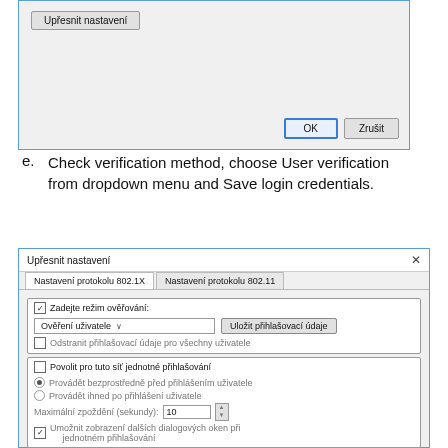[Figure (screenshot): Windows dialog box partially visible showing 'Upřesnit nastavení' button and OK/Zrušit buttons at the bottom.]
e. Check verification method, choose User verification from dropdown menu and Save login credentials.
[Figure (screenshot): Windows 'Upřesnit nastavení' dialog showing 802.1X protocol settings with verification mode dropdown set to 'Ověření uživatele', 'Uložit přihlašovací údaje' button, and single sign-on settings section.]